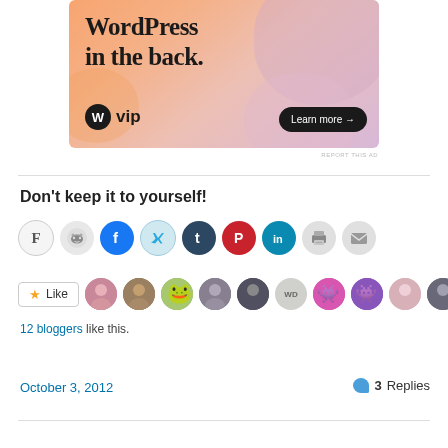[Figure (illustration): WordPress VIP advertisement banner with colorful gradient background (peach/pink/lavender blobs), large text 'WordPress in the back.', WordPress logo with 'vip' text, and a 'Learn more →' button on dark pill.]
REPORT THIS AD
Don't keep it to yourself!
[Figure (infographic): Row of social share icon circles: F (Flipboard), Reddit alien, Facebook, Twitter, Tumblr, Pinterest, LinkedIn, Print, Email]
[Figure (infographic): Like button with star icon followed by 10 blogger avatar thumbnails]
12 bloggers like this.
October 3, 2012
3 Replies